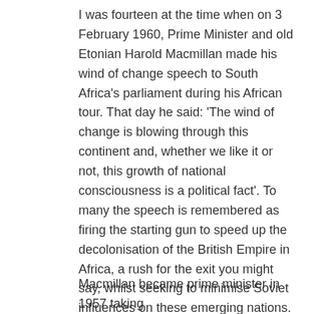I was fourteen at the time when on 3 February 1960, Prime Minister and old Etonian Harold Macmillan made his wind of change speech to South Africa's parliament during his African tour. That day he said: 'The wind of change is blowing through this continent and, whether we like it or not, this growth of national consciousness is a political fact'. To many the speech is remembered as firing the starting gun to speed up the decolonisation of the British Empire in Africa, a rush for the exit you might say, whilst seeking to minimise Soviet influences on these emerging nations. But it was also an attack on South Africa's system of apartheid which was only swept away some thirty years later. I did not realise at the time that this was the precursor to a long courtship with the then European Economic Community (EEC) which as we all know ended in an acrimonious divorce.
Macmillan became prime minister in 1957 taking...